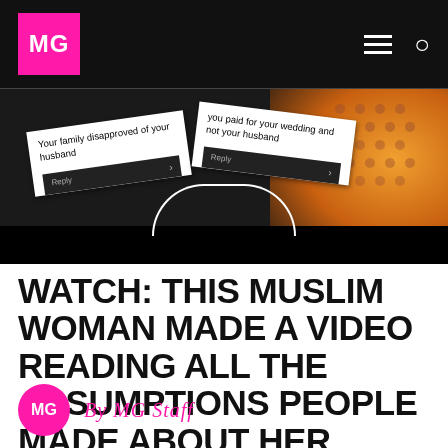MG
[Figure (photo): Screenshot of a social media post showing two overlapping cards with text: 'Your family disapproved of your husband' and 'you paid for your wedding and not your husband', each with a Reply button, set against a warm bokeh background with a polka-dot fabric.]
WATCH: THIS MUSLIM WOMAN MADE A VIDEO READING ALL THE ASSUMPTIONS PEOPLE MADE ABOUT HER
By MG Staff